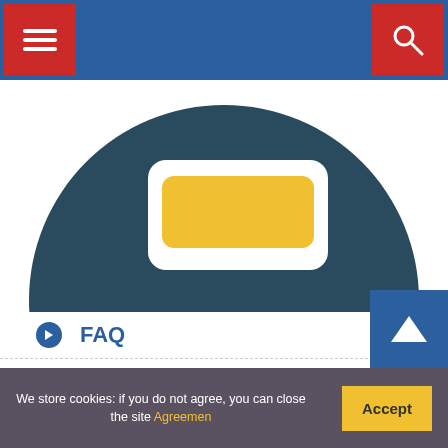[Figure (screenshot): Website navigation bar with hamburger menu on left and search icon on right, both on blue background with red button backgrounds]
[Figure (illustration): Partial circular icon illustration showing a dark teal circle with a yellow rounded rectangle in the center, cropped at top]
FAQ
Author
Privacy Policy
Cookie Agreement
We store cookies: if you do not agree, you can close the site Agreement